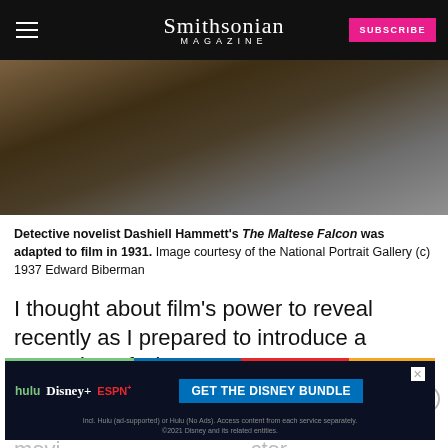Smithsonian MAGAZINE
[Figure (photo): Close-up photograph of Dashiell Hammett, a detective novelist, showing his torso and partial face against a gray background. Image is dark and textured.]
Detective novelist Dashiell Hammett's The Maltese Falcon was adapted to film in 1931. Image courtesy of the National Portrait Gallery (c) 1937 Edward Biberman
I thought about film's power to reveal recently as I prepared to introduce a screening of The Maltese Falcon at the Portrait Gallery. The 1941 movie... director and Humphrey Bogart's transition from typecast
[Figure (screenshot): Advertisement for the Disney Bundle featuring Hulu, Disney+, and ESPN+ logos with a 'GET THE DISNEY BUNDLE' call to action button on a dark background.]